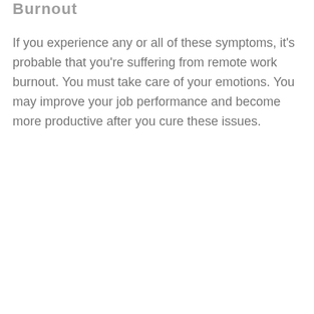Burnout
If you experience any or all of these symptoms, it's probable that you're suffering from remote work burnout. You must take care of your emotions. You may improve your job performance and become more productive after you cure these issues.